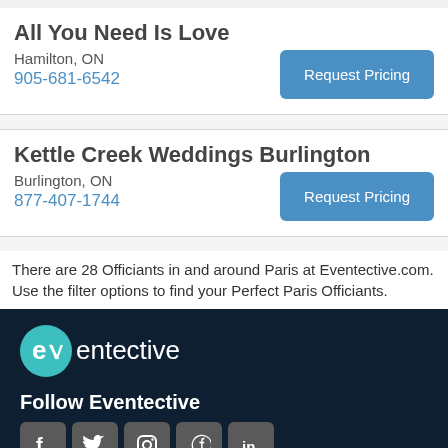All You Need Is Love
Hamilton, ON
905-681-6542
Request Pricing
Kettle Creek Weddings Burlington
Burlington, ON
877-407-1744
Request Pricing
There are 28 Officiants in and around Paris at Eventective.com. Use the filter options to find your Perfect Paris Officiants.
[Figure (logo): Eventective logo with teal circle and white text]
Follow Eventective
[Figure (infographic): Social media icons: Facebook, Twitter, Instagram, Pinterest, LinkedIn]